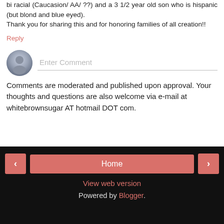bi racial (Caucasion/ AA/ ??) and a 3 1/2 year old son who is hispanic (but blond and blue eyed).
Thank you for sharing this and for honoring families of all creation!!
Reply
[Figure (other): Comment input area with user avatar circle and placeholder text 'Enter Comment' with underline]
Comments are moderated and published upon approval. Your thoughts and questions are also welcome via e-mail at whitebrownsugar AT hotmail DOT com.
< | Home | > | View web version | Powered by Blogger.